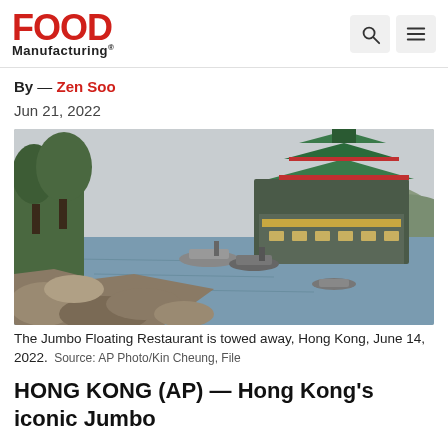Food Manufacturing
By — Zen Soo
Jun 21, 2022
[Figure (photo): The Jumbo Floating Restaurant being towed away on the water, with rocky shore in foreground and hills in background, Hong Kong, June 14, 2022.]
The Jumbo Floating Restaurant is towed away, Hong Kong, June 14, 2022.  Source: AP Photo/Kin Cheung, File
HONG KONG (AP) — Hong Kong's iconic Jumbo